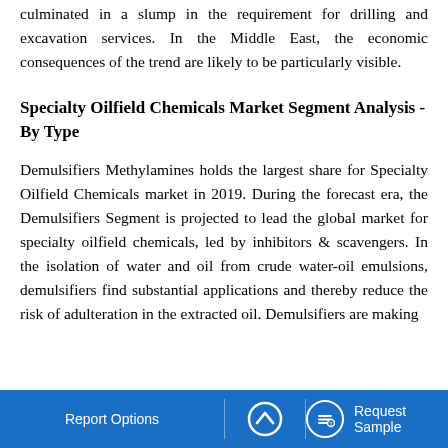culminated in a slump in the requirement for drilling and excavation services. In the Middle East, the economic consequences of the trend are likely to be particularly visible.
Specialty Oilfield Chemicals Market Segment Analysis - By Type
Demulsifiers Methylamines holds the largest share for Specialty Oilfield Chemicals market in 2019. During the forecast era, the Demulsifiers Segment is projected to lead the global market for specialty oilfield chemicals, led by inhibitors & scavengers. In the isolation of water and oil from crude water-oil emulsions, demulsifiers find substantial applications and thereby reduce the risk of adulteration in the extracted oil. Demulsifiers are making
Report Options   ^   Request Sample